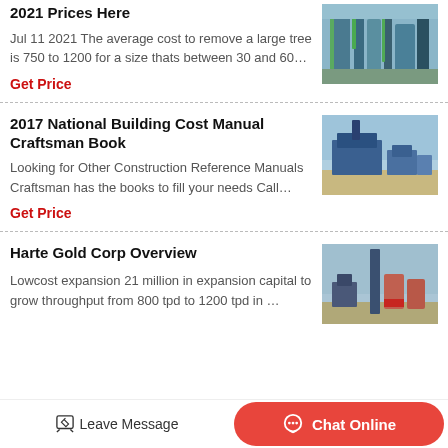2021 Prices Here
Jul 11 2021 The average cost to remove a large tree is 750 to 1200 for a size thats between 30 and 60…
Get Price
[Figure (photo): Industrial facility with green scaffolding and chemical plant structures]
2017 National Building Cost Manual Craftsman Book
Looking for Other Construction Reference Manuals Craftsman has the books to fill your needs Call…
Get Price
[Figure (photo): Industrial building with blue structures against a blue sky]
Harte Gold Corp Overview
Lowcost expansion 21 million in expansion capital to grow throughput from 800 tpd to 1200 tpd in …
[Figure (photo): Industrial tower and silos at a mining or processing facility]
Leave Message
Chat Online